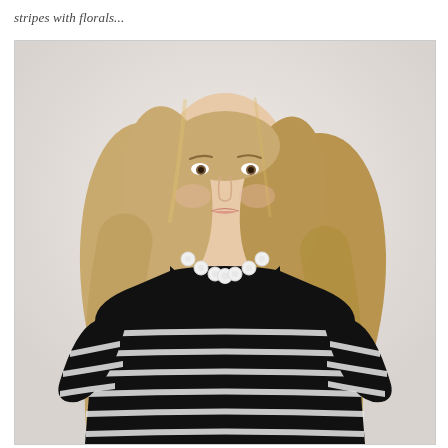stripes with florals...
[Figure (photo): A woman with long blonde hair wearing a black and white striped 3/4-sleeve top and a white circular bead necklace, photographed from the waist up against a light gray background.]